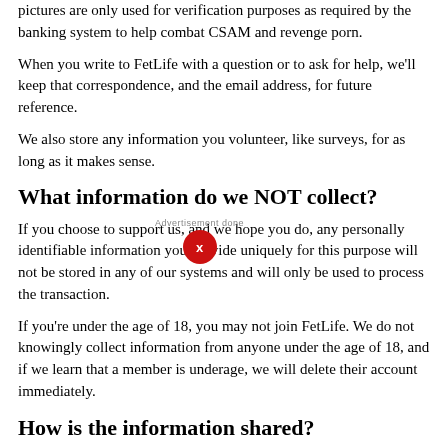pictures are only used for verification purposes as required by the banking system to help combat CSAM and revenge porn.
When you write to FetLife with a question or to ask for help, we'll keep that correspondence, and the email address, for future reference.
We also store any information you volunteer, like surveys, for as long as it makes sense.
What information do we NOT collect?
If you choose to support us, and we hope you do, any personally identifiable information you provide uniquely for this purpose will not be stored in any of our systems and will only be used to process the transaction.
If you're under the age of 18, you may not join FetLife. We do not knowingly collect information from anyone under the age of 18, and if we learn that a member is underage, we will delete their account immediately.
How is the information shared?